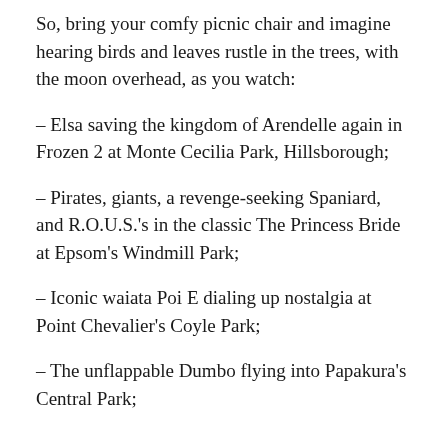So, bring your comfy picnic chair and imagine hearing birds and leaves rustle in the trees, with the moon overhead, as you watch:
– Elsa saving the kingdom of Arendelle again in Frozen 2 at Monte Cecilia Park, Hillsborough;
– Pirates, giants, a revenge-seeking Spaniard, and R.O.U.S.'s in the classic The Princess Bride at Epsom's Windmill Park;
– Iconic waiata Poi E dialing up nostalgia at Point Chevalier's Coyle Park;
– The unflappable Dumbo flying into Papakura's Central Park;